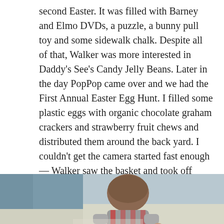second Easter. It was filled with Barney and Elmo DVDs, a puzzle, a bunny pull toy and some sidewalk chalk. Despite all of that, Walker was more interested in Daddy's See's Candy Jelly Beans. Later in the day PopPop came over and we had the First Annual Easter Egg Hunt. I filled some plastic eggs with organic chocolate graham crackers and strawberry fruit chews and distributed them around the back yard. I couldn't get the camera started fast enough — Walker saw the basket and took off around the yard collecting eggs. He was in heaven. After finding all the treasures and transferring from the Easter basket to the Christmas tree holder, we did a bit of chalk drawing.
[Figure (photo): A young child viewed from above, bending down on a concrete or paved surface, appearing to be drawing with chalk or picking something up. The child has brown hair and is wearing a jacket.]